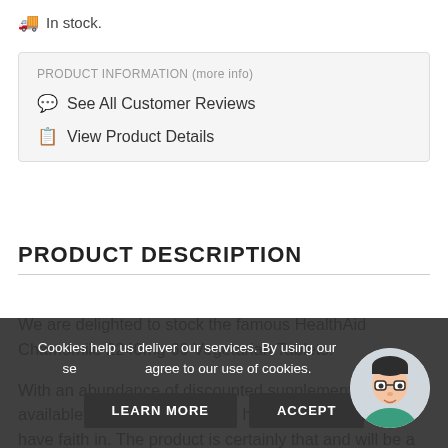In stock.
PRODUCT INFORMATION (more info)
See All Customer Reviews
View Product Details
PRODUCT DESCRIPTION
We are delighted to stock the famous HealthAid Chamomile 2240mg 60 Vegetarian Tablets.
With an abundance of discounted supplement products available recently, it is good to have a name you can have faith in. The product is certainly that and will be a excellent
Cookies help us deliver our services. By using our se... agree to our use of cookies.